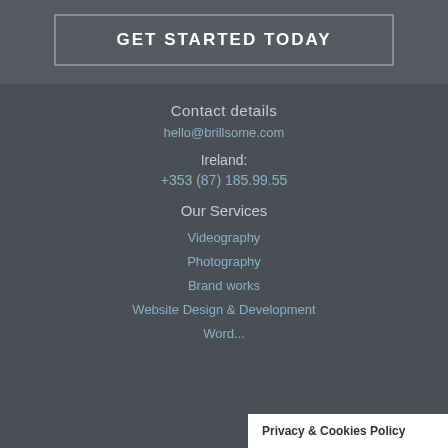GET STARTED TODAY
Contact details
hello@brillsome.com
Ireland:
+353 (87) 185.99.55
Our Services
Videography
Photography
Brand works
Website Design & Development
Word...
Privacy & Cookies Policy